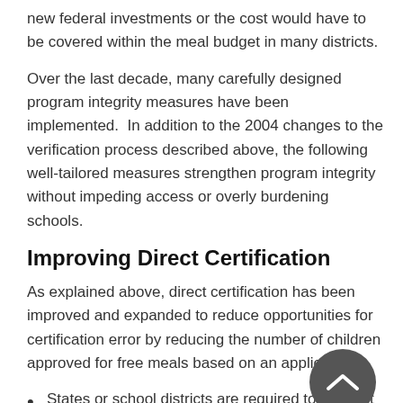new federal investments or the cost would have to be covered within the meal budget in many districts.
Over the last decade, many carefully designed program integrity measures have been implemented. In addition to the 2004 changes to the verification process described above, the following well-tailored measures strengthen program integrity without impeding access or overly burdening schools.
Improving Direct Certification
As explained above, direct certification has been improved and expanded to reduce opportunities for certification error by reducing the number of children approved for free meals based on an application.
States or school districts are required to conduct a minimum of three electronic data matches using SNAP records each year, with more frequent matching